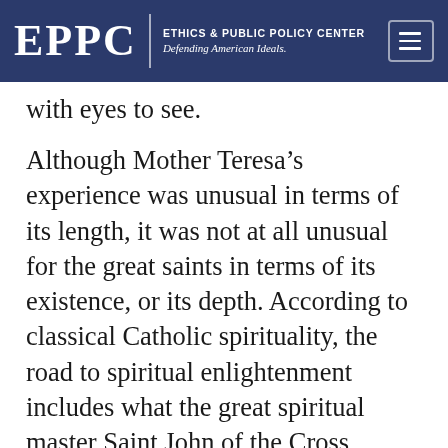EPPC | ETHICS & PUBLIC POLICY CENTER Defending American Ideals.
with eyes to see.
Although Mother Teresa’s experience was unusual in terms of its length, it was not at all unusual for the great saints in terms of its existence, or its depth. According to classical Catholic spirituality, the road to spiritual enlightenment includes what the great spiritual master Saint John of the Cross famously called “the dark night of the soul.” Yes, faith and the spiritual life can be exhilarating. Prayer can give us great experiences. But what are you after? Are you after God, or are you after how awesome it feels to be after God? The only way